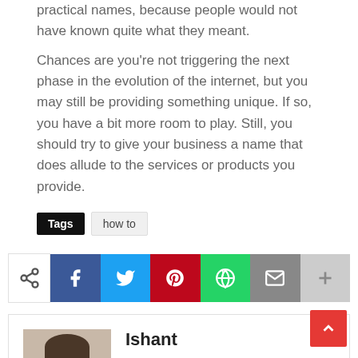practical names, because people would not have known quite what they meant.
Chances are you're not triggering the next phase in the evolution of the internet, but you may still be providing something unique. If so, you have a bit more room to play. Still, you should try to give your business a name that does allude to the services or products you provide.
Tags  how to
[Figure (infographic): Social share buttons row: share icon, Facebook (f), Twitter (bird), Pinterest (p), WhatsApp (phone), Email (envelope), plus (+)]
[Figure (photo): Photo of Ishant Gaddamwar, a man with short dark hair and beard, facing slightly left, wearing a dark shirt.]
Ishant
Hello, I am Ishant Gaddamwar, Founder of the Dark hacker world. I am a Geek and also a Cybersecurity expert. I love to write about the latest technology, money-